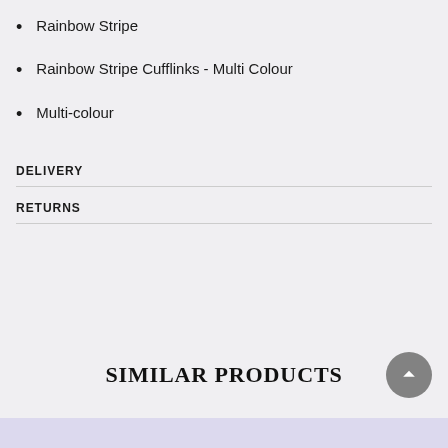Rainbow Stripe
Rainbow Stripe Cufflinks - Multi Colour
Multi-colour
DELIVERY
RETURNS
SIMILAR PRODUCTS